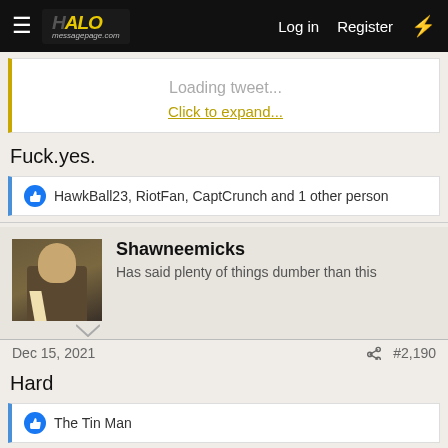HALO messagepage.com  Log in  Register
[Figure (screenshot): Tweet embed box showing 'Loading tweet...' and 'Click to expand...' link]
Fuck.yes.
HawkBall23, RiotFan, CaptCrunch and 1 other person
Shawneemicks
Has said plenty of things dumber than this
Dec 15, 2021  #2,190
Hard
The Tin Man
bigazzturkeylegs